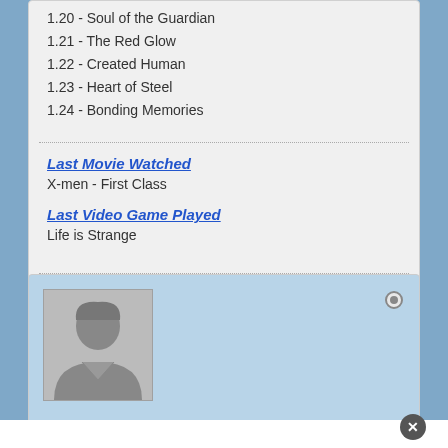1.20 - Soul of the Guardian
1.21 - The Red Glow
1.22 - Created Human
1.23 - Heart of Steel
1.24 - Bonding Memories
Last Movie Watched
X-men - First Class
Last Video Game Played
Life is Strange
[Figure (photo): User profile card with a generic male avatar silhouette on a light blue background, with a radio button in the top right corner]